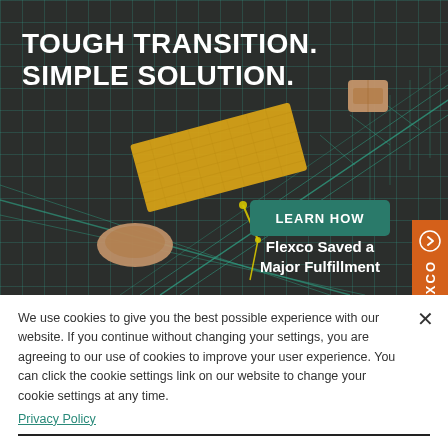[Figure (illustration): Dark background grid-pattern advertisement showing a conveyor belt system with packages/parcels being transferred. A yellow conveyor diverter and teal/green wireframe conveyor belts are shown. A teal 'LEARN HOW' button and text 'Flexco Saved a Major Fulfillment' appear. An orange side tab with a right-arrow icon and 'XCO' text is on the right edge.]
TOUGH TRANSITION. SIMPLE SOLUTION.
We use cookies to give you the best possible experience with our website. If you continue without changing your settings, you are agreeing to our use of cookies to improve your user experience. You can click the cookie settings link on our website to change your cookie settings at any time.
Privacy Policy
Cookies Settings
Accept All Cookies